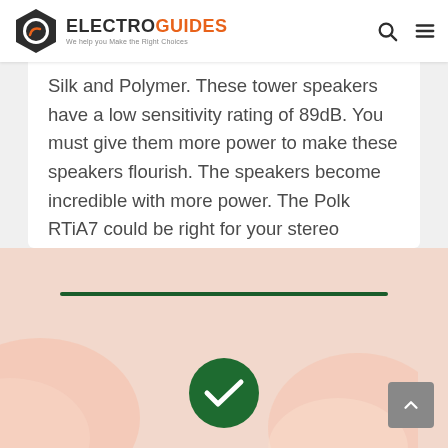ELECTROGUIDES — We help you Make the Right Choices
Silk and Polymer. These tower speakers have a low sensitivity rating of 89dB. You must give them more power to make these speakers flourish. The speakers become incredible with more power. The Polk RTiA7 could be right for your stereo system if you have the right application and configuration.
[Figure (other): Green horizontal divider line above a green checkmark circle button, on a peach/salmon decorative background with white wave shapes]